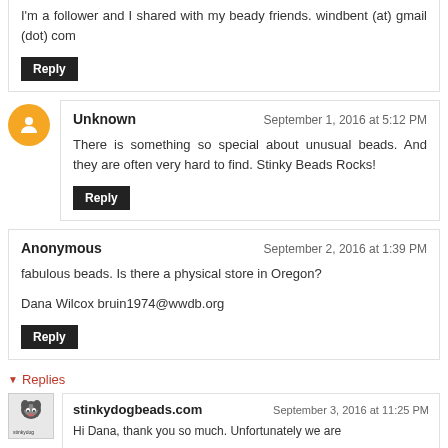I'm a follower and I shared with my beady friends. windbent (at) gmail (dot) com
Reply
Unknown
September 1, 2016 at 5:12 PM
There is something so special about unusual beads. And they are often very hard to find. Stinky Beads Rocks!
Reply
Anonymous
September 2, 2016 at 1:39 PM
fabulous beads. Is there a physical store in Oregon?
Dana Wilcox bruin1974@wwdb.org
Reply
Replies
stinkydogbeads.com
September 3, 2016 at 11:25 PM
Hi Dana, thank you so much. Unfortunately we are